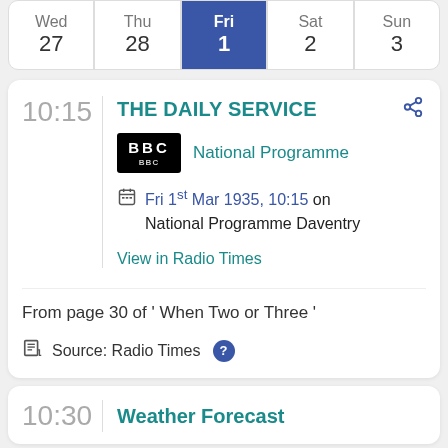| Wed 27 | Thu 28 | Fri 1 | Sat 2 | Sun 3 |
| --- | --- | --- | --- | --- |
10:15
THE DAILY SERVICE
[Figure (logo): BBC logo black background]
National Programme
Fri 1st Mar 1935, 10:15 on National Programme Daventry
View in Radio Times
From page 30 of ' When Two or Three '
Source: Radio Times
10:30
Weather Forecast